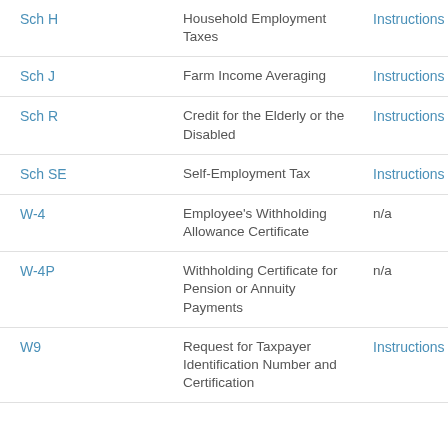| Form | Description | Link |
| --- | --- | --- |
| Sch H | Household Employment Taxes | Instructions |
| Sch J | Farm Income Averaging | Instructions |
| Sch R | Credit for the Elderly or the Disabled | Instructions |
| Sch SE | Self-Employment Tax | Instructions |
| W-4 | Employee's Withholding Allowance Certificate | n/a |
| W-4P | Withholding Certificate for Pension or Annuity Payments | n/a |
| W9 | Request for Taxpayer Identification Number and Certification | Instructions |